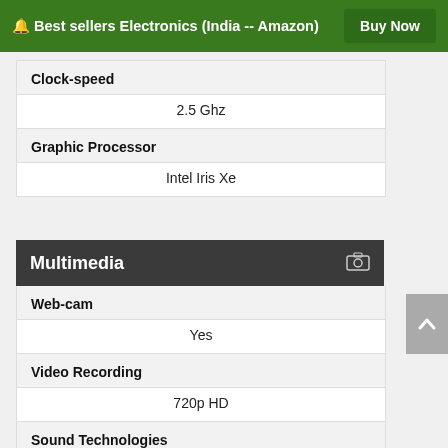🔔 Best sellers Electronics (India -- Amazon)   Buy Now
| Attribute | Value |
| --- | --- |
| Clock-speed | 2.5 Ghz |
| Graphic Processor | Intel Iris Xe |
Multimedia
| Attribute | Value |
| --- | --- |
| Web-cam | Yes |
| Video Recording | 720p HD |
| Sound Technologies |  |